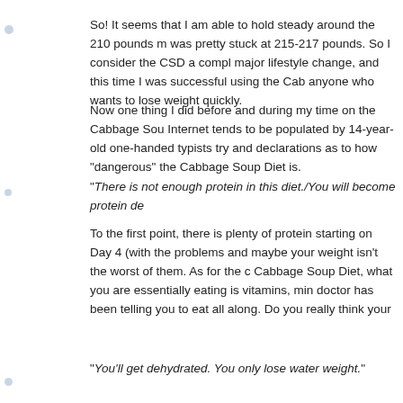So! It seems that I am able to hold steady around the 210 pounds m was pretty stuck at 215-217 pounds. So I consider the CSD a compl major lifestyle change, and this time I was successful using the Cab anyone who wants to lose weight quickly.
Now one thing I did before and during my time on the Cabbage Sou Internet tends to be populated by 14-year-old one-handed typists try and declarations as to how "dangerous" the Cabbage Soup Diet is.
"There is not enough protein in this diet./You will become protein de
To the first point, there is plenty of protein starting on Day 4 (with the problems and maybe your weight isn't the worst of them. As for the c Cabbage Soup Diet, what you are essentially eating is vitamins, min doctor has been telling you to eat all along. Do you really think your
"You'll get dehydrated. You only lose water weight."